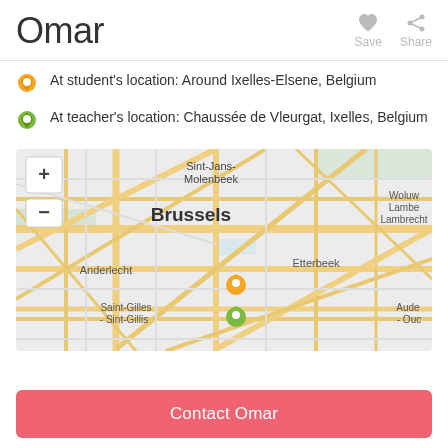Omar
At student's location: Around Ixelles-Elsene, Belgium
At teacher's location: Chaussée de Vleurgat, Ixelles, Belgium
[Figure (map): Street map of Brussels area showing Sint-Jans-Molenbeek, Brussels, Anderlecht, Etterbeek, Saint-Gilles - Sint-Gillis, Woluwe-Lambert-Lambrecht, Auderghem areas. An orange/yellow pin is placed in central Brussels and a green pin placed slightly south (Ixelles area).]
Contact Omar